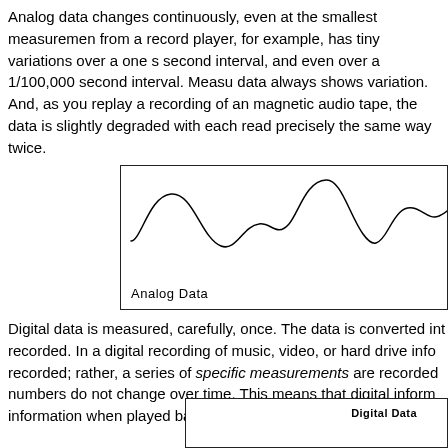Analog data changes continuously, even at the smallest measurements. Sound from a record player, for example, has tiny variations over a one second interval, a 1/10 second interval, and even over a 1/100,000 second interval. Measuring analog data always shows variation. And, as you replay a recording of analog data, such as magnetic audio tape, the data is slightly degraded with each reading — you can't read precisely the same way twice.
[Figure (continuous-plot): A wavy analog waveform curve drawn in black showing a continuous oscillating signal with varying amplitude. Labeled 'Analog Data' at the bottom left.]
Digital data is measured, carefully, once. The data is converted into numbers and recorded. In a digital recording of music, video, or hard drive information, data is not recorded; rather, a series of specific measurements are recorded as numbers. These numbers do not change over time. This means that digital information reproduces exactly the same information when played back.
[Figure (continuous-plot): A digital data waveform diagram labeled 'Digital Data' shown as a rectangular pulse/step signal.]